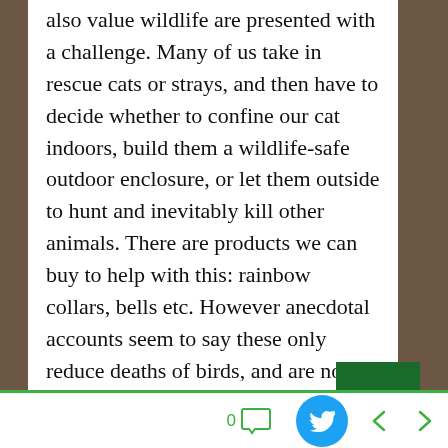also value wildlife are presented with a challenge. Many of us take in rescue cats or strays, and then have to decide whether to confine our cat indoors, build them a wildlife-safe outdoor enclosure, or let them outside to hunt and inevitably kill other animals. There are products we can buy to help with this: rainbow collars, bells etc. However anecdotal accounts seem to say these only reduce deaths of birds, and are not a complete solution. One online review stated 'the only things they've caught since they've been wearing them are moles and voles.
[Figure (screenshot): Bottom navigation bar with comment icon showing 0, Twitter share button (blue circle), and left/right navigation arrows in green]